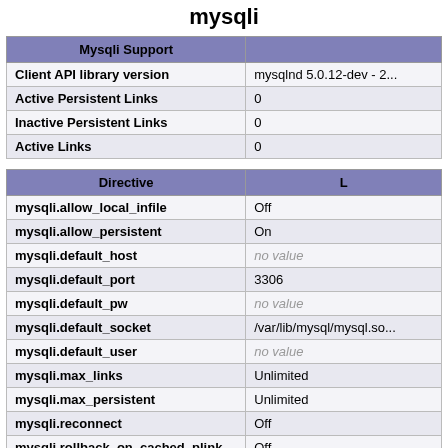mysqli
| Mysqli Support |  |
| --- | --- |
| Client API library version | mysqlnd 5.0.12-dev - 20... |
| Active Persistent Links | 0 |
| Inactive Persistent Links | 0 |
| Active Links | 0 |
| Directive | L... |
| --- | --- |
| mysqli.allow_local_infile | Off |
| mysqli.allow_persistent | On |
| mysqli.default_host | no value |
| mysqli.default_port | 3306 |
| mysqli.default_pw | no value |
| mysqli.default_socket | /var/lib/mysql/mysql.so... |
| mysqli.default_user | no value |
| mysqli.max_links | Unlimited |
| mysqli.max_persistent | Unlimited |
| mysqli.reconnect | Off |
| mysqli.rollback_on_cached_plink | Off |